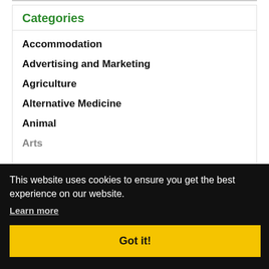Categories
Accommodation
Advertising and Marketing
Agriculture
Alternative Medicine
Animal
Arts
Booking
Business
Communication
This website uses cookies to ensure you get the best experience on our website.
Learn more
Got it!